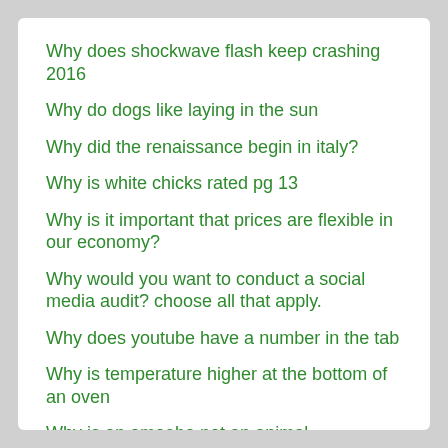Why does shockwave flash keep crashing 2016
Why do dogs like laying in the sun
Why did the renaissance begin in italy?
Why is white chicks rated pg 13
Why is it important that prices are flexible in our economy?
Why would you want to conduct a social media audit? choose all that apply.
Why does youtube have a number in the tab
Why is temperature higher at the bottom of an oven
Why is an amoeba not an animal